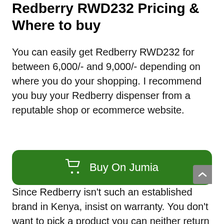Redberry RWD232 Pricing & Where to buy
You can easily get Redberry RWD232 for between 6,000/- and 9,000/- depending on where you do your shopping. I recommend you buy your Redberry dispenser from a reputable shop or ecommerce website.
[Figure (other): Green rounded button with shopping cart icon and text 'Buy On Jumia']
Since Redberry isn’t such an established brand in Kenya, insist on warranty. You don’t want to pick a product you can neither return nor have repaired, do you?